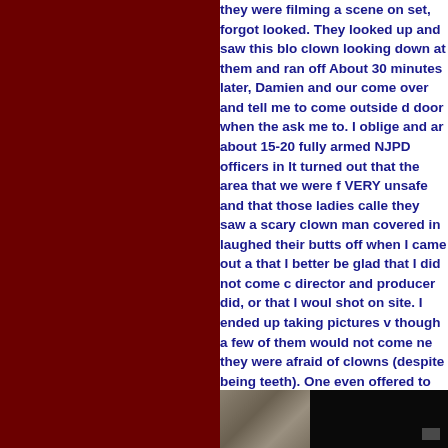they were filming a scene on set, forgot looked. They looked up and saw this blo clown looking down at them and ran off About 30 minutes later, Damien and our come over and tell me to come outside d door when the ask me to. I oblige and ar about 15-20 fully armed NJPD officers in It turned out that the area that we were f VERY unsafe and that those ladies calle they saw a scary clown man covered in laughed their butts off when I came out a that I better be glad that I did not come c director and producer did, or that I woul shot on site. I ended up taking pictures v though a few of them would not come ne they were afraid of clowns (despite being teeth). One even offered to bring a dead we needed one. I don't think he was joki was a fun night!
[Figure (photo): Two photos side by side at the bottom of the page: left photo shows a person in clown costume/makeup in dim lighting, right photo shows a very dark scene with minimal detail visible.]